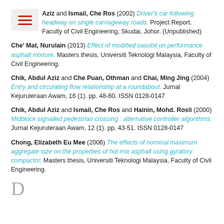Aziz and Ismail, Che Ros (2002) Driver's car following headway on single carriageway roads. Project Report. Faculty of Civil Engineering, Skudai, Johor. (Unpublished)
Che' Mat, Nurulain (2013) Effect of modified sasobit on performance asphalt mixture. Masters thesis, Universiti Teknologi Malaysia, Faculty of Civil Engineering.
Chik, Abdul Aziz and Che Puan, Othman and Chai, Ming Jing (2004) Entry and circulating flow relationship at a roundabout. Jurnal Kejuruteraan Awam, 16 (1). pp. 48-60. ISSN 0128-0147
Chik, Abdul Aziz and Ismail, Che Ros and Hainin, Mohd. Rosli (2000) Midblock signalled pedestrian crossing : alternative controller algorithms. Jurnal Kejuruteraan Awam, 12 (1). pp. 43-51. ISSN 0128-0147
Chong, Elizabeth Eu Mee (2006) The effects of nominal maximum aggregate size on the properties of hot mix asphalt using gyratory compactor. Masters thesis, Universiti Teknologi Malaysia, Faculty of Civil Engineering.
D